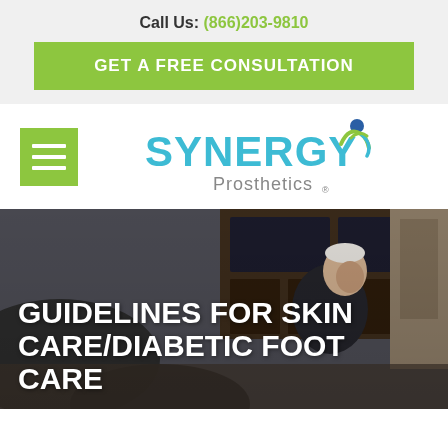Call Us: (866)203-9810
GET A FREE CONSULTATION
[Figure (logo): Synergy Prosthetics logo with teal text and green/blue figure icon]
[Figure (photo): Elderly man in dark shirt leaning over, with another person in foreground, in a home living room setting]
GUIDELINES FOR SKIN CARE/DIABETIC FOOT CARE